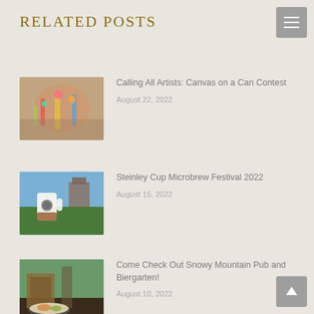Related Posts
[Figure (photo): Close-up of a hand painting with colorful brushes on a palette]
Calling All Artists: Canvas on a Can Contest
August 22, 2022
[Figure (photo): A beer mug being held up in front of a green outdoor venue]
Steinley Cup Microbrew Festival 2022
August 15, 2022
[Figure (photo): Outdoor pub and biergarten with food and drinks on a table]
Come Check Out Snowy Mountain Pub and Biergarten!
August 10, 2022